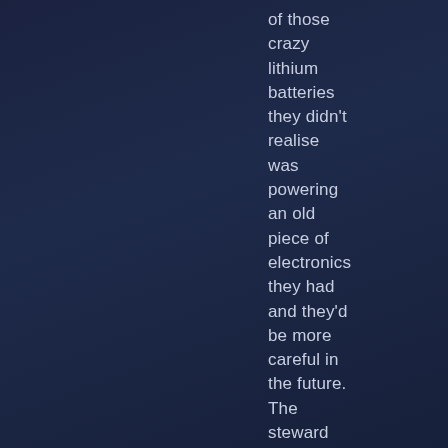of those crazy lithium batteries they didn't realise was powering an old piece of electronics they had and they'd be more careful in the future. The steward gave them a